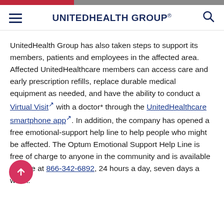UnitedHealth Group
UnitedHealth Group has also taken steps to support its members, patients and employees in the affected area. Affected UnitedHealthcare members can access care and early prescription refills, replace durable medical equipment as needed, and have the ability to conduct a Virtual Visit with a doctor* through the UnitedHealthcare smartphone app. In addition, the company has opened a free emotional-support help line to help people who might be affected. The Optum Emotional Support Help Line is free of charge to anyone in the community and is available toll free at 866-342-6892, 24 hours a day, seven days a week.